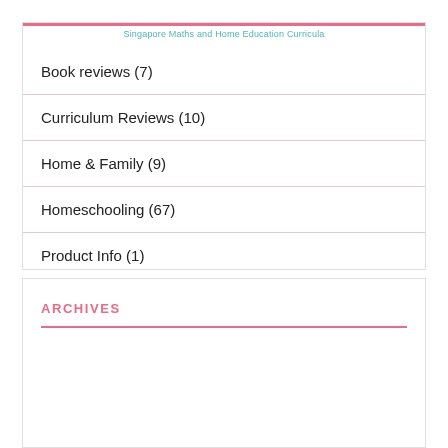Singapore Maths and Home Education Curricula
Book reviews (7)
Curriculum Reviews (10)
Home & Family (9)
Homeschooling (67)
Product Info (1)
Singapore maths (1)
ARCHIVES